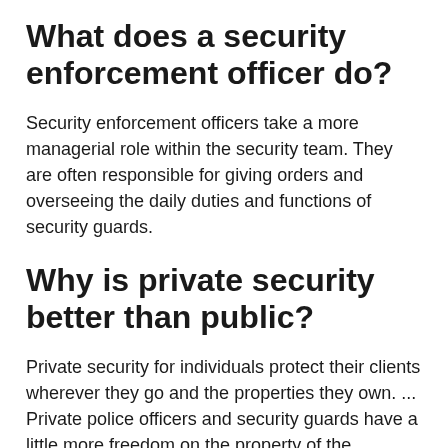What does a security enforcement officer do?
Security enforcement officers take a more managerial role within the security team. They are often responsible for giving orders and overseeing the daily duties and functions of security guards.
Why is private security better than public?
Private security for individuals protect their clients wherever they go and the properties they own. ... Private police officers and security guards have a little more freedom on the property of the businesses or people who hire them for private security services.